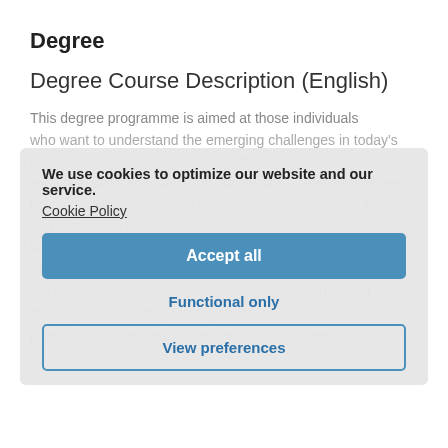Degree
Degree Course Description (English)
This degree programme is aimed at those individuals who want to understand the emerging challenges in today's business world. Through the use of an applied methodology, analytical skills and hands-on lab sessions, learners will learn how to use analytical tools to derive insight on hidden trends and patterns in order to leverage business success. One will learn how to develop, implement and test bespoke solutions for resolving problems in specific scenarios. Additional units will cover aspects such as: improving one's own critical thinking skills, building strategies for promoting businesses, understanding consumer
We use cookies to optimize our website and our service.
Cookie Policy
Accept all
Functional only
View preferences